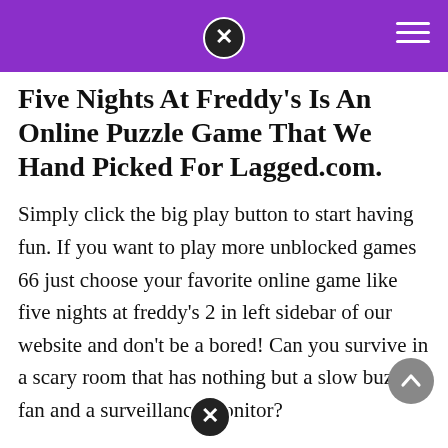Five Nights At Freddy's Is An Online Puzzle Game That We Hand Picked For Lagged.com.
Simply click the big play button to start having fun. If you want to play more unblocked games 66 just choose your favorite online game like five nights at freddy's 2 in left sidebar of our website and don't be a bored! Can you survive in a scary room that has nothing but a slow buzzing fan and a surveillance monitor?
You Just Have To Manage The Restaurant Till 6 Am, Watch The Doors And Guard The Place